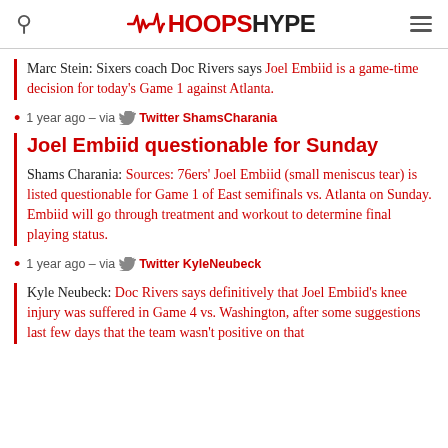HoopsHype
Marc Stein: Sixers coach Doc Rivers says Joel Embiid is a game-time decision for today's Game 1 against Atlanta.
1 year ago – via Twitter ShamsCharania
Joel Embiid questionable for Sunday
Shams Charania: Sources: 76ers' Joel Embiid (small meniscus tear) is listed questionable for Game 1 of East semifinals vs. Atlanta on Sunday. Embiid will go through treatment and workout to determine final playing status.
1 year ago – via Twitter KyleNeubeck
Kyle Neubeck: Doc Rivers says definitively that Joel Embiid's knee injury was suffered in Game 4 vs. Washington, after some suggestions last few days that the team wasn't positive on that